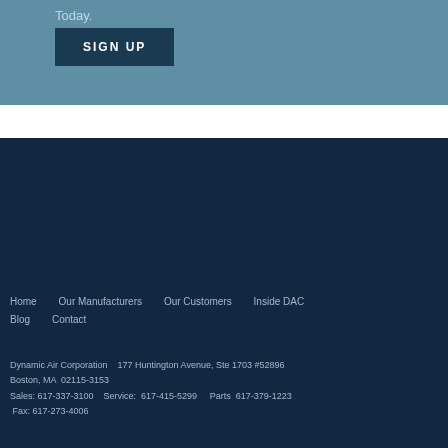Today.
SIGN UP
Home   Our Manufacturers   Our Customers   Inside DAC   Blog   Contact
Dynamic Air Corporation   177 Huntington Avenue, Ste 1703 #52896 Boston, MA  02115-3153
Sales: 617-337-3100   Service:  617-415-5299    Parts  617-379-1223
 Fax: 617-273-4006
©2018 All Rights Reserved.  Web Design by flyte
[Figure (illustration): Facebook and LinkedIn social media icons]